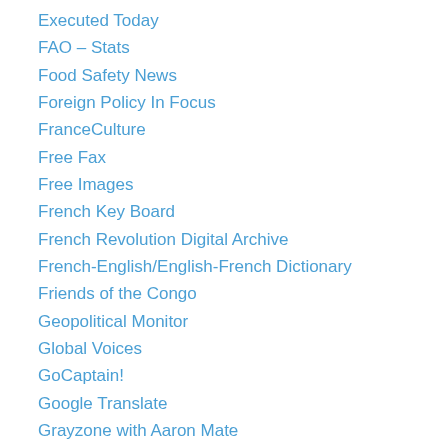Executed Today
FAO – Stats
Food Safety News
Foreign Policy In Focus
FranceCulture
Free Fax
Free Images
French Key Board
French Revolution Digital Archive
French-English/English-French Dictionary
Friends of the Congo
Geopolitical Monitor
Global Voices
GoCaptain!
Google Translate
Grayzone with Aaron Mate
Grow Weed Easy
Harissa.com (website for North African Jewry)
Helsinki Times
High Country News